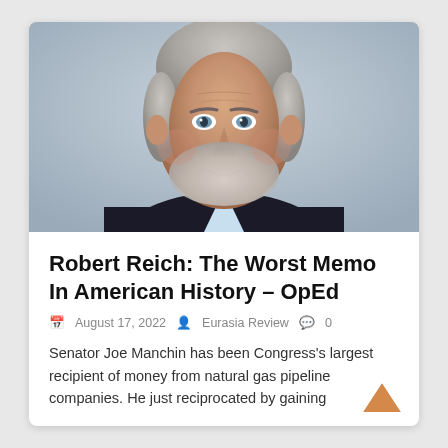[Figure (photo): Headshot photo of an older man with grey and white hair, grey beard, blue eyes, wearing a dark suit jacket and light blue shirt, against a light grey background]
Robert Reich: The Worst Memo In American History – OpEd
August 17, 2022   Eurasia Review   0
Senator Joe Manchin has been Congress's largest recipient of money from natural gas pipeline companies. He just reciprocated by gaining